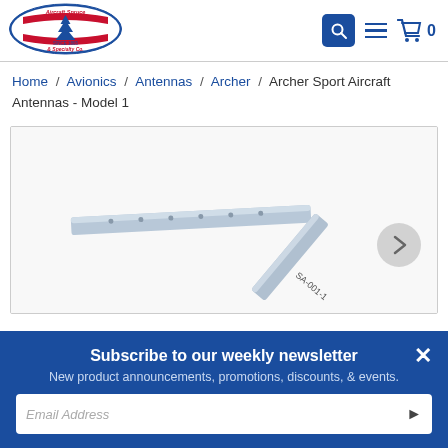[Figure (logo): Aircraft Spruce & Specialty Co. logo — oval shape with tree emblem, red and blue, 'SINCE 1965']
Home / Avionics / Antennas / Archer / Archer Sport Aircraft Antennas - Model 1
[Figure (photo): Photo of an Archer Sport Aircraft Antenna Model 1 — metallic L-shaped flat antenna bracket on white background, labeled SA-001-1]
Subscribe to our weekly newsletter
New product announcements, promotions, discounts, & events.
Email Address